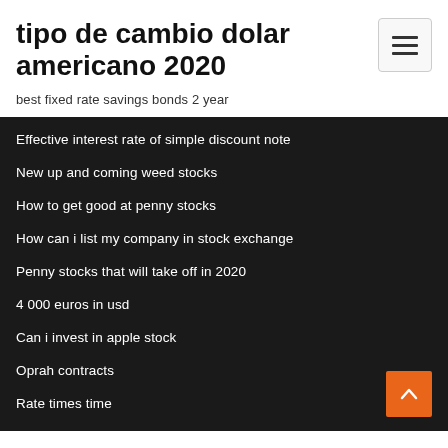tipo de cambio dolar americano 2020
best fixed rate savings bonds 2 year
Effective interest rate of simple discount note
New up and coming weed stocks
How to get good at penny stocks
How can i list my company in stock exchange
Penny stocks that will take off in 2020
4 000 euros in usd
Can i invest in apple stock
Oprah contracts
Rate times time